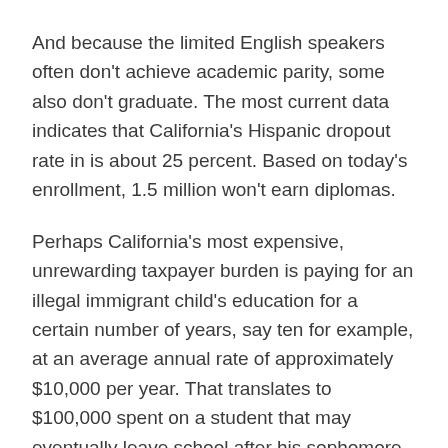And because the limited English speakers often don't achieve academic parity, some also don't graduate. The most current data indicates that California's Hispanic dropout rate in is about 25 percent. Based on today's enrollment, 1.5 million won't earn diplomas.
Perhaps California's most expensive, unrewarding taxpayer burden is paying for an illegal immigrant child's education for a certain number of years, say ten for example, at an average annual rate of approximately $10,000 per year. That translates to $100,000 spent on a student that may eventually leave school after his sophomore year.
The immigration fueled education crisis has created an uneasy atmosphere among California taxpayers. An increasing number wonder why they should fund illegal